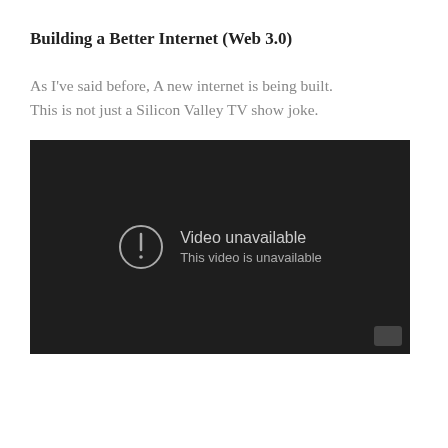Building a Better Internet (Web 3.0)
As I've said before, A new internet is being built. This is not just a Silicon Valley TV show joke.
[Figure (screenshot): Embedded video player showing 'Video unavailable — This video is unavailable' error message on a dark background.]